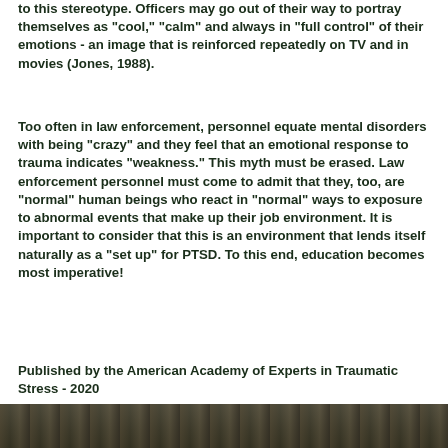to this stereotype. Officers may go out of their way to portray themselves as "cool," "calm" and always in "full control" of their emotions - an image that is reinforced repeatedly on TV and in movies (Jones, 1988).
Too often in law enforcement, personnel equate mental disorders with being "crazy" and they feel that an emotional response to trauma indicates "weakness." This myth must be erased. Law enforcement personnel must come to admit that they, too, are "normal" human beings who react in "normal" ways to exposure to abnormal events that make up their job environment. It is important to consider that this is an environment that lends itself naturally as a "set up" for PTSD. To this end, education becomes most imperative!
Published by the American Academy of Experts in Traumatic Stress - 2020
[Figure (photo): Partial view of a photograph at the bottom of the page, showing a dark scene.]